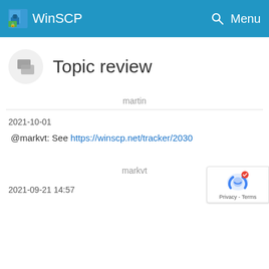WinSCP  Menu
Topic review
martin
2021-10-01
@markvt: See https://winscp.net/tracker/2030
markvt
2021-09-21 14:57